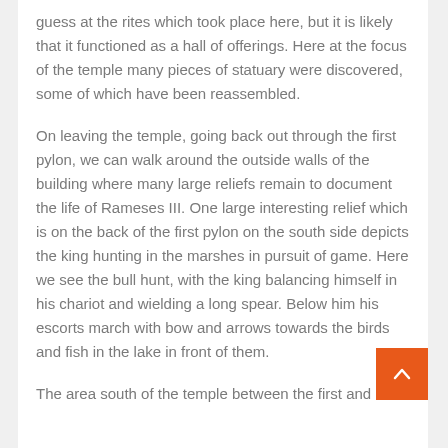guess at the rites which took place here, but it is likely that it functioned as a hall of offerings. Here at the focus of the temple many pieces of statuary were discovered, some of which have been reassembled.
On leaving the temple, going back out through the first pylon, we can walk around the outside walls of the building where many large reliefs remain to document the life of Rameses III. One large interesting relief which is on the back of the first pylon on the south side depicts the king hunting in the marshes in pursuit of game. Here we see the bull hunt, with the king balancing himself in his chariot and wielding a long spear. Below him his escorts march with bow and arrows towards the birds and fish in the lake in front of them.
The area south of the temple between the first and